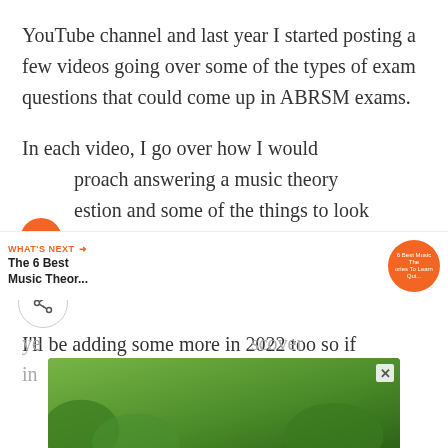YouTube channel and last year I started posting a few videos going over some of the types of exam questions that could come up in ABRSM exams.
In each video, I go over how I would approach answering a music theory question and some of the things to look out for.
I'll be adding some more in 2022 too so if
[Figure (screenshot): UI overlay with heart/like button (orange circle), share button (outlined circle with share icon), comment count '3', and a 'WHAT'S NEXT' bar showing 'The 6 Best Music Theor...' with an orange circular thumbnail]
[Figure (photo): Advertisement banner showing hands forming a heart shape over green foliage background with white text 'LOVE > HATE', with a close (X) button]